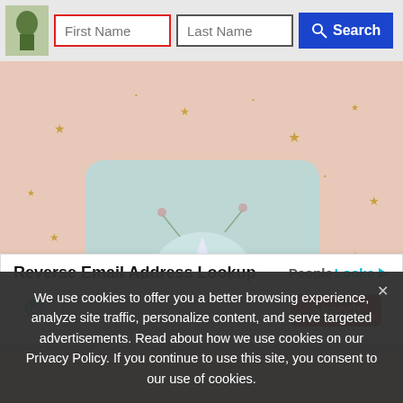[Figure (screenshot): Page header with logo (green statue illustration), First Name input field with red border, Last Name input field with black border, and blue Search button with magnifying glass icon]
[Figure (photo): Pink background with gold stars and a light blue rounded rectangle card with a unicorn illustration, floral decorations on a pink/peach background]
[Figure (screenshot): PeopleLooker ad widget: 'Reverse Email Address Lookup' title with PeopleLooker branding, cyan magnifying glass/person icon, text input field, and red Search button]
We use cookies to offer you a better browsing experience, analyze site traffic, personalize content, and serve targeted advertisements. Read about how we use cookies on our Privacy Policy. If you continue to use this site, you consent to our use of cookies.